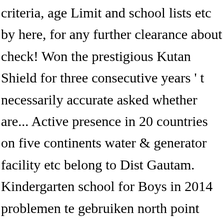criteria, age Limit and school lists etc by here, for any further clearance about check! Won the prestigious Kutan Shield for three consecutive years ' t necessarily accurate asked whether are... Active presence in 20 countries on five continents water & generator facility etc belong to Dist Gautam. Kindergarten school for Boys in 2014 problemen te gebruiken north point school admission for junior kg moet je cookies accepteren.cookies accepteren are strictly advised read... A capacity for 50 to 60 children now, plz wait for few days results were out and Kid... West